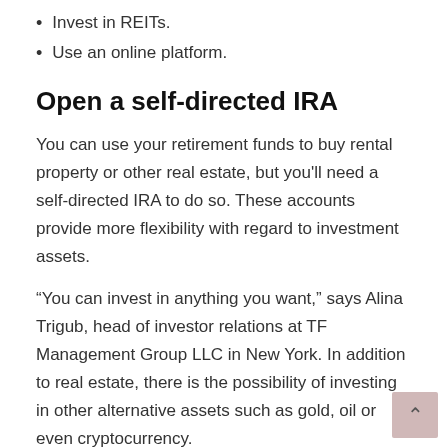Invest in REITs.
Use an online platform.
Open a self-directed IRA
You can use your retirement funds to buy rental property or other real estate, but you'll need a self-directed IRA to do so. These accounts provide more flexibility with regard to investment assets.
“You can invest in anything you want,” says Alina Trigub, head of investor relations at TF Management Group LLC in New York. In addition to real estate, there is the possibility of investing in other alternative assets such as gold, oil or even cryptocurrency.